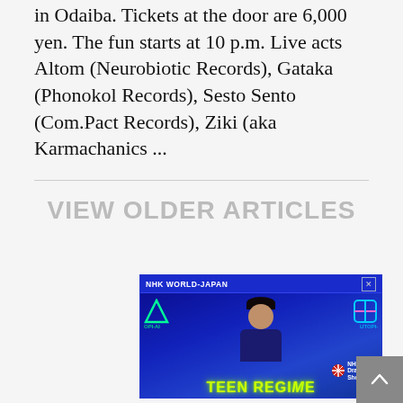in Odaiba. Tickets at the door are 6,000 yen. The fun starts at 10 p.m. Live acts Altom (Neurobiotic Records), Gataka (Phonokol Records), Sesto Sento (Com.Pact Records), Ziki (aka Karmachanics ...
VIEW OLDER ARTICLES
[Figure (screenshot): NHK World-Japan advertisement banner for 'Teen Regime' NHK Drama Showcase, featuring a young man in a dark suit against a blue background with neon-lit UTOPI-AI signage.]